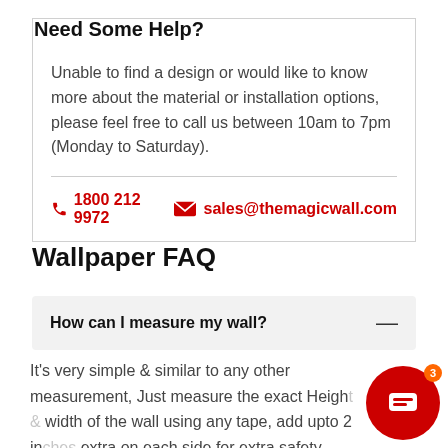Need Some Help?
Unable to find a design or would like to know more about the material or installation options, please feel free to call us between 10am to 7pm (Monday to Saturday).
1800 212 9972   sales@themagicwall.com
Wallpaper FAQ
How can I measure my wall?
It's very simple & similar to any other measurement, Just measure the exact Height & width of the wall using any tape, add upto 2 inches extra on each side for extra safety.